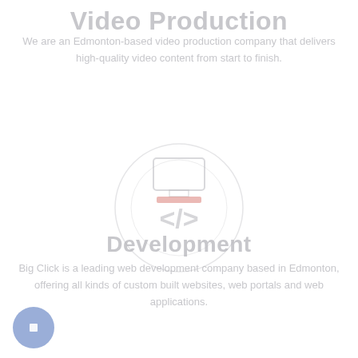Video Production
We are an Edmonton-based video production company that delivers high-quality video content from start to finish.
[Figure (illustration): A faint circular icon with a code bracket symbol </> in the center, resembling a web development or coding icon with a monitor/screen element above it.]
Development
Big Click is a leading web development company based in Edmonton, offering all kinds of custom built websites, web portals and web applications.